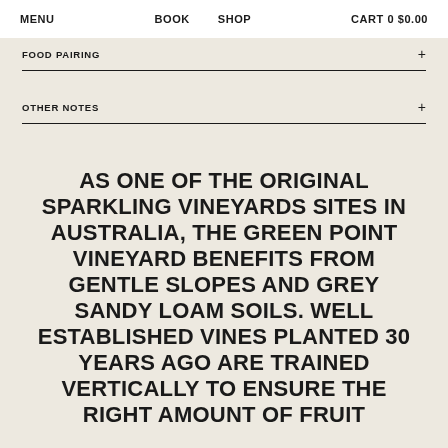MENU   BOOK   SHOP   CART 0 $0.00
FOOD PAIRING
OTHER NOTES
AS ONE OF THE ORIGINAL SPARKLING VINEYARDS SITES IN AUSTRALIA, THE GREEN POINT VINEYARD BENEFITS FROM GENTLE SLOPES AND GREY SANDY LOAM SOILS. WELL ESTABLISHED VINES PLANTED 30 YEARS AGO ARE TRAINED VERTICALLY TO ENSURE THE RIGHT AMOUNT OF FRUIT